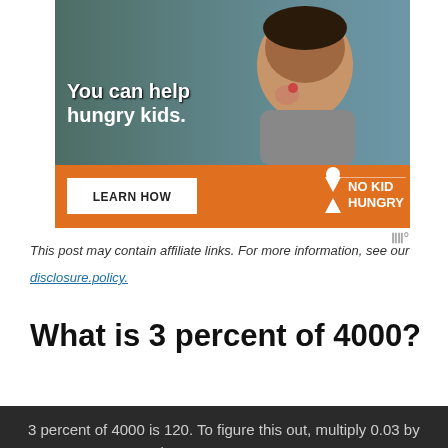[Figure (photo): No Kid Hungry advertisement showing a child eating, with orange bar at bottom containing 'LEARN HOW' button and No Kid Hungry logo, with text overlay 'You can help hungry kids.']
This post may contain affiliate links. For more information, see our
disclosure.policy.
What is 3 percent of 4000?
3 percent of 4000 is 120. To figure this out, multiply 0.03 by 4000 to get 120 as the answer.